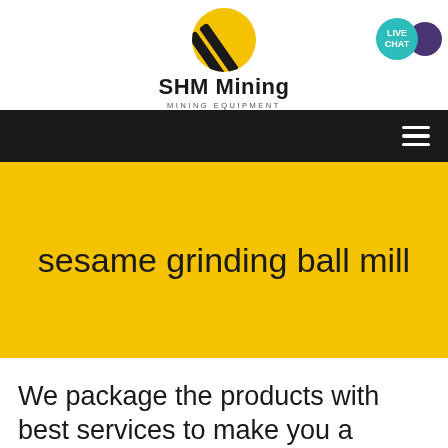[Figure (logo): SHM Mining logo: black and yellow circular logo with diagonal stripes, company name 'SHM Mining' in bold and 'MINING EQUIPMENT' subtitle]
SHM Mining
MINING EQUIPMENT
[Figure (infographic): LIVE CHAT bubble in teal circle with purple speech bubble icon, top right corner]
[Figure (screenshot): Black navigation bar with white hamburger menu icon on the right]
sesame grinding ball mill
We package the products with best services to make you a happy customer.